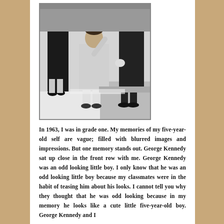[Figure (photo): Black and white photograph of a young boy in a coat saluting, surrounded by adults, likely from the 1960s.]
In 1963, I was in grade one. My memories of my five-year-old self are vague; filled with blurred images and impressions. But one memory stands out. George Kennedy sat up close in the front row with me. George Kennedy was an odd looking little boy. I only know that he was an odd looking little boy because my classmates were in the habit of teasing him about his looks. I cannot tell you why they thought that he was odd looking because in my memory he looks like a cute little five-year-old boy. George Kennedy and I